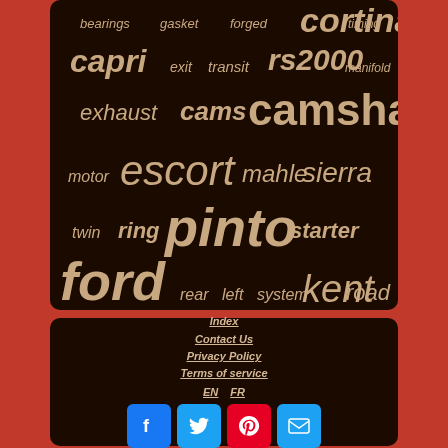[Figure (infographic): Word cloud on dark brown background with automotive parts terms in varying sizes and italic/bold styles. Words include: bearings, gasket, forged, cortina, timing, capri, exit, transit, rs2000, manifold, exhaust, cams, camshaft, motor, escort, mahle, sierra, twin, ring, pinto, starter, ford, rear, left, system, kent, road]
Index
Contact Us
Privacy Policy
Terms of service
EN  FR